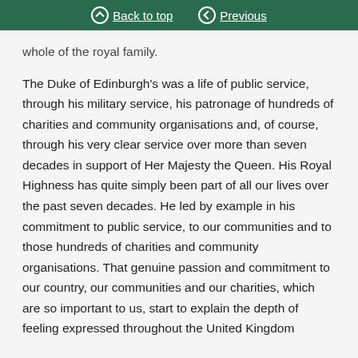Back to top | Previous
whole of the royal family.

The Duke of Edinburgh's was a life of public service, through his military service, his patronage of hundreds of charities and community organisations and, of course, through his very clear service over more than seven decades in support of Her Majesty the Queen. His Royal Highness has quite simply been part of all our lives over the past seven decades. He led by example in his commitment to public service, to our communities and to those hundreds of charities and community organisations. That genuine passion and commitment to our country, our communities and our charities, which are so important to us, start to explain the depth of feeling expressed throughout the United Kingdom